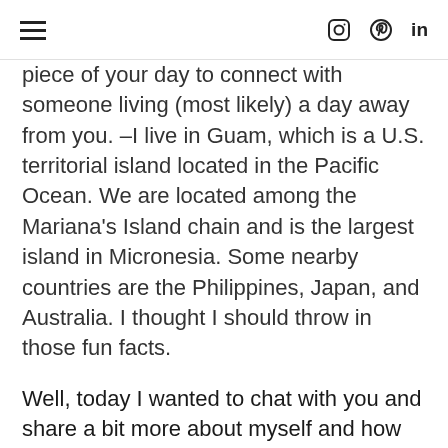≡  [instagram icon] [pinterest icon] in
piece of your day to connect with someone living (most likely) a day away from you. –I live in Guam, which is a U.S. territorial island located in the Pacific Ocean. We are located among the Mariana's Island chain and is the largest island in Micronesia. Some nearby countries are the Philippines, Japan, and Australia. I thought I should throw in those fun facts.
Well, today I wanted to chat with you and share a bit more about myself and how as a wide-eyed 17 year old I joined the United States Coast Guard, became a Health Services Technician, and my love affair with medicine and this man